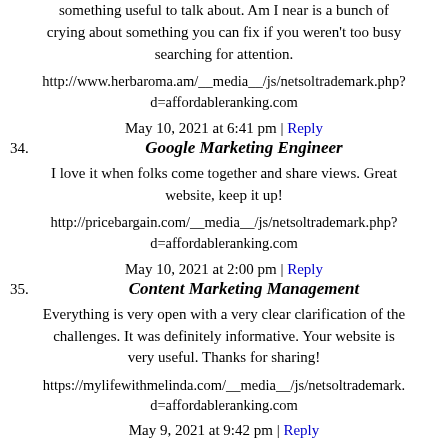something useful to talk about. Am I near is a bunch of crying about something you can fix if you weren't too busy searching for attention.
http://www.herbaroma.am/__media__/js/netsoltrademark.php?d=affordableranking.com
May 10, 2021 at 6:41 pm | Reply
34. Google Marketing Engineer
I love it when folks come together and share views. Great website, keep it up!
http://pricebargain.com/__media__/js/netsoltrademark.php?d=affordableranking.com
May 10, 2021 at 2:00 pm | Reply
35. Content Marketing Management
Everything is very open with a very clear clarification of the challenges. It was definitely informative. Your website is very useful. Thanks for sharing!
https://mylifewithmelinda.com/__media__/js/netsoltrademark.php?d=affordableranking.com
May 9, 2021 at 9:42 pm | Reply